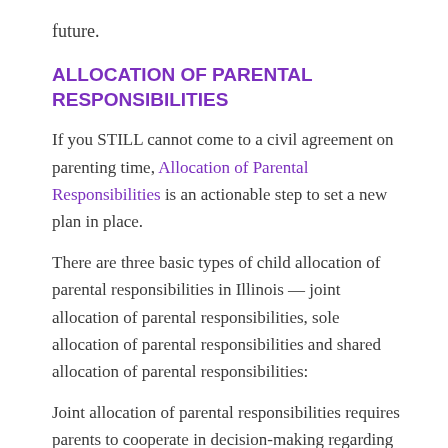future.
ALLOCATION OF PARENTAL RESPONSIBILITIES
If you STILL cannot come to a civil agreement on parenting time, Allocation of Parental Responsibilities is an actionable step to set a new plan in place.
There are three basic types of child allocation of parental responsibilities in Illinois — joint allocation of parental responsibilities, sole allocation of parental responsibilities and shared allocation of parental responsibilities:
Joint allocation of parental responsibilities requires parents to cooperate in decision-making regarding your child's education and schooling